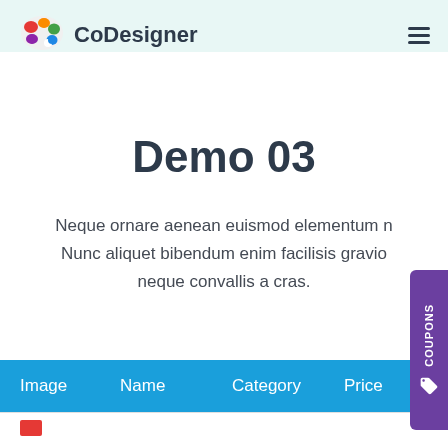CoDesigner
Demo 03
Neque ornare aenean euismod elementum n... Nunc aliquet bibendum enim facilisis gravid... neque convallis a cras.
| Image | Name | Category | Price |
| --- | --- | --- | --- |
| [red] |  |  |  |